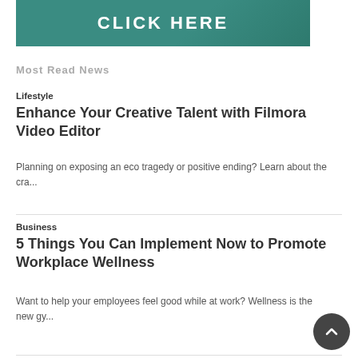[Figure (photo): Teal/green tinted banner image with bold white text 'CLICK HERE']
Most Read News
Lifestyle
Enhance Your Creative Talent with Filmora Video Editor
Planning on exposing an eco tragedy or positive ending? Learn about the cra...
Business
5 Things You Can Implement Now to Promote Workplace Wellness
Want to help your employees feel good while at work? Wellness is the new gy...